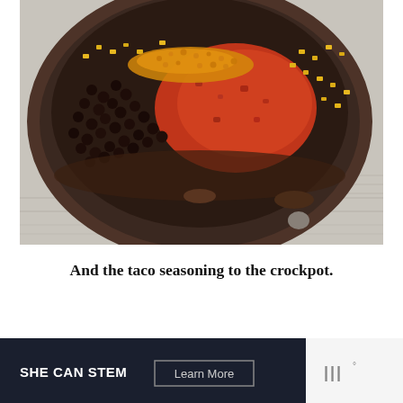[Figure (photo): Close-up photo of a crockpot/slow cooker containing black beans, corn, tomato salsa, and yellow taco seasoning sprinkled on top, viewed from above on a white/grey wooden surface.]
And the taco seasoning to the crockpot.
[Figure (infographic): Dark navy advertisement banner reading 'SHE CAN STEM' with a 'Learn More' button and a logo on the right.]